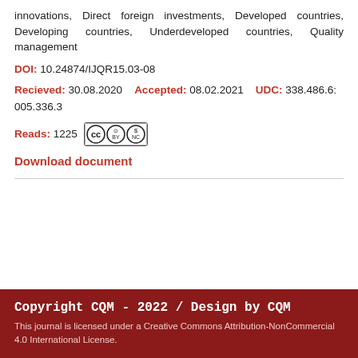innovations, Direct foreign investments, Developed countries, Developing countries, Underdeveloped countries, Quality management
DOI: 10.24874/IJQR15.03-08
Recieved: 30.08.2020  Accepted: 08.02.2021  UDC: 338.486.6:005.336.3
Reads: 1225
Download document
Copyright CQM - 2022 / Design by CQM
This journal is licensed under a Creative Commons Attribution-NonCommercial 4.0 International License.